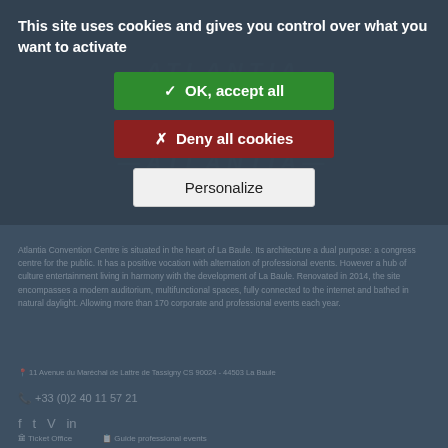This site uses cookies and gives you control over what you want to activate
✓ OK, accept all
✗ Deny all cookies
Personalize
Atlantia Convention Centre is situated in the heart of La Baule. Its architecture a dual purpose: a congress centre for the public. It has a positive vocation with alternation of professional events. However a hub of culture entertainment living in harmony with the development of La Baule. Renovated in 2014, the site encompasses a modern auditorium, multifunctional spaces, fully connected to the internet and bathed in natural daylight. Allowing more than 170 corporate and professional events each year.
11 Avenue du Maréchal de Lattre de Tassigny CS 90024 - 44503 La Baule
+33 (0)2 40 11 57 21
f  t  V  in
Ticket Office    Guide professional events